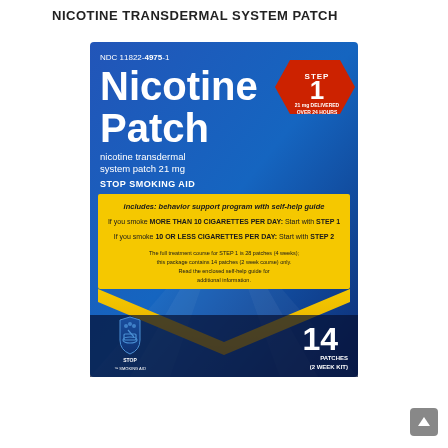NICOTINE TRANSDERMAL SYSTEM PATCH
[Figure (photo): Product box of Nicotine Patch (nicotine transdermal system patch 21 mg), Step 1, Stop Smoking Aid, NDC 11822-4975-1, 14 patches (2 week kit). Blue box with yellow information panel and red hexagonal Step 1 badge.]